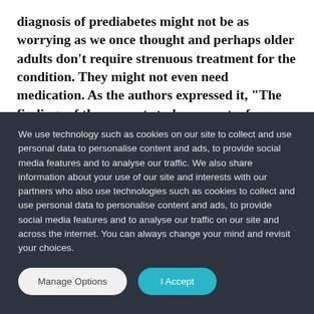diagnosis of prediabetes might not be as worrying as we once thought and perhaps older adults don't require strenuous treatment for the condition. They might not even need medication. As the authors expressed it, "The findings of the current study support a focus on lifestyle improvement when feasible and safe, especially given the broader
We use technology such as cookies on our site to collect and use personal data to personalise content and ads, to provide social media features and to analyse our traffic. We also share information about your use of our site and interests with our partners who also use technologies such as cookies to collect and use personal data to personalise content and ads, to provide social media features and to analyse our traffic on our site and across the internet. You can always change your mind and revisit your choices.
Manage Options | I Accept